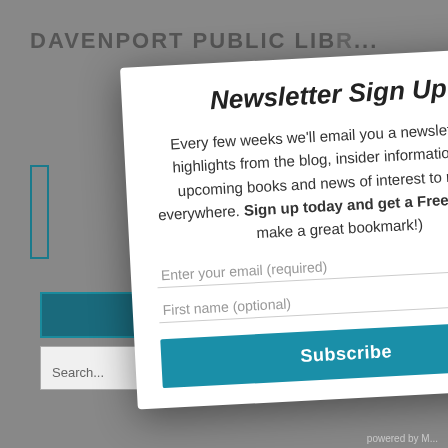DAVENPORT PUBLIC LIB...
[Figure (screenshot): Background of a library website with a dimmed overlay, showing partial header 'DAVENPORT PUBLIC LIBRARY', a blue sidebar element, a teal button, and a search box]
Newsletter Sign Up!
Every few weeks we'll email you a newsletter with highlights from the blog, insider information about upcoming books and news of interest to readers everywhere. Sign up today and get a Free Print! (It'll make a great bookmark!)
Enter your email (required)
First name (optional)
Subscribe